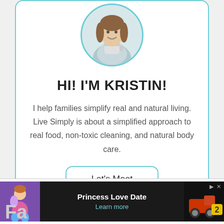[Figure (photo): Circular avatar photo of a woman holding a cup, with teal border]
HI! I'M KRISTIN!
I help families simplify real and natural living. Live Simply is about a simplified approach to real food, non-toxic cleaning, and natural body care.
Let's Meet
[Figure (screenshot): Advertisement banner: Princess Love Date game with 'Learn more' link, flanked by cartoon images]